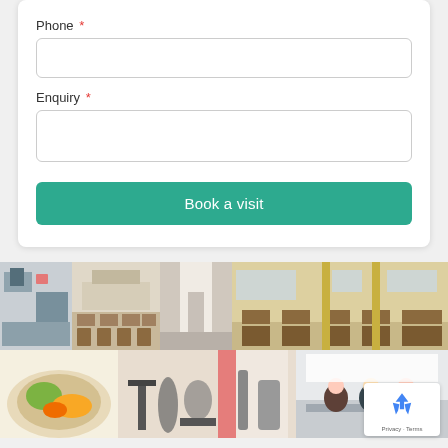Phone *
Enquiry *
Book a visit
[Figure (photo): Photo collage of hostel/hotel facilities: room, dining area, hallway, large dining hall, food plate, gym equipment, study room]
[Figure (other): Google reCAPTCHA badge with Privacy and Terms links]